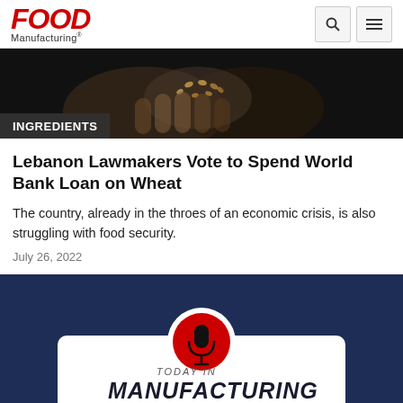Food Manufacturing
[Figure (photo): Close-up photo of hands holding wheat or grain, dark background]
INGREDIENTS
Lebanon Lawmakers Vote to Spend World Bank Loan on Wheat
The country, already in the throes of an economic crisis, is also struggling with food security.
July 26, 2022
[Figure (illustration): Today in Manufacturing podcast card with microphone icon on dark blue background]